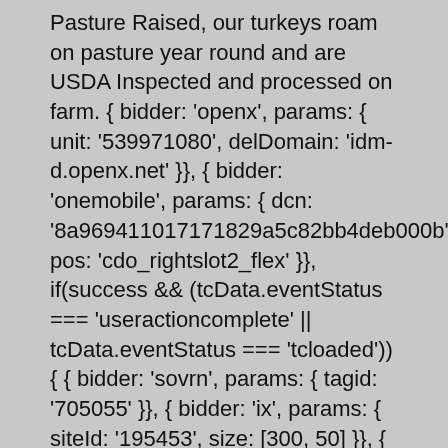Pasture Raised, our turkeys roam on pasture year round and are USDA Inspected and processed on farm. { bidder: 'openx', params: { unit: '539971080', delDomain: 'idm-d.openx.net' }}, { bidder: 'onemobile', params: { dcn: '8a969411017171829a5c82bb4deb000b', pos: 'cdo_rightslot2_flex' }}, if(success && (tcData.eventStatus === 'useractioncomplete' || tcData.eventStatus === 'tcloaded')) { { bidder: 'sovrn', params: { tagid: '705055' }}, { bidder: 'ix', params: { siteId: '195453', size: [300, 50] }}, { bidder: 'sovrn', params: { tagid: '346688' }}, Human translations with